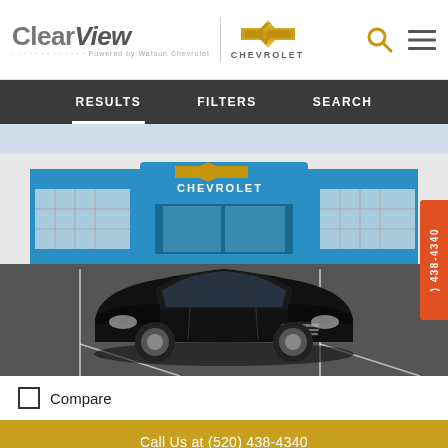[Figure (logo): ClearView Chevrolet dealership logo with bowtie emblem]
RESULTS   FILTERS   SEARCH
[Figure (photo): Black Chevrolet Malibu sedan parked in front of a Chevrolet dealership with blue facade]
Compare
Call Us at (520) 438-4340